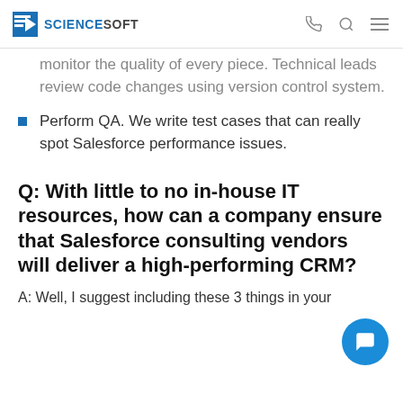ScienceSoft
monitor the quality of every piece. Technical leads review code changes using version control system.
Perform QA. We write test cases that can really spot Salesforce performance issues.
Q: With little to no in-house IT resources, how can a company ensure that Salesforce consulting vendors will deliver a high-performing CRM?
A: Well, I suggest including these 3 things in your